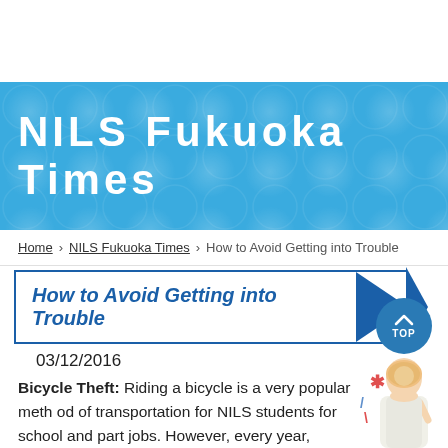NILS Fukuoka Times
Home > NILS Fukuoka Times > How to Avoid Getting into Trouble
How to Avoid Getting into Trouble
03/12/2016
Bicycle Theft: Riding a bicycle is a very popular method of transportation for NILS students for school and part jobs. However, every year, several NILS students become the victims of bicycle theft. This often happens when a